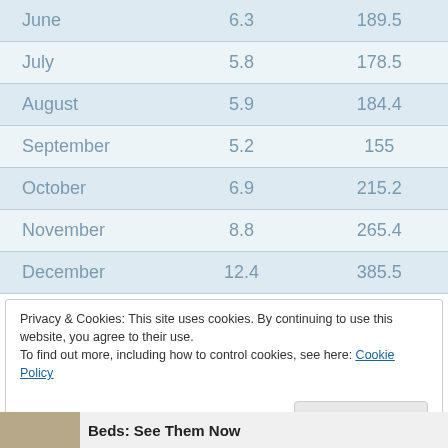| June | 6.3 | 189.5 |
| July | 5.8 | 178.5 |
| August | 5.9 | 184.4 |
| September | 5.2 | 155 |
| October | 6.9 | 215.2 |
| November | 8.8 | 265.4 |
| December | 12.4 | 385.5 |
Privacy & Cookies: This site uses cookies. By continuing to use this website, you agree to their use.
To find out more, including how to control cookies, see here: Cookie Policy
Close and accept
Beds: See Them Now